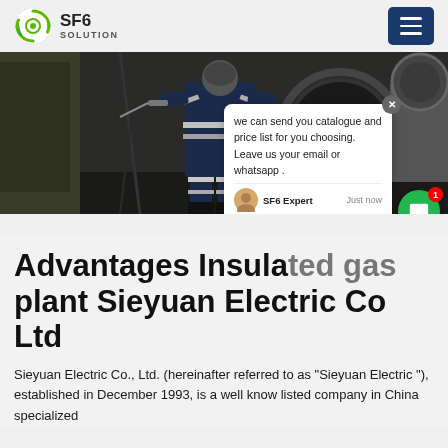SF6 SOLUTION
[Figure (photo): Industrial worker in reflective safety gear working inside a large electrical equipment enclosure or GIS substation. A chat popup overlay is visible on the right side showing a message from SF6 Expert.]
Advantages Insulated gas plant Sieyuan Electric Co Ltd
Sieyuan Electric Co., Ltd. (hereinafter referred to as "Sieyuan Electric "), established in December 1993, is a well know listed company in China specialized